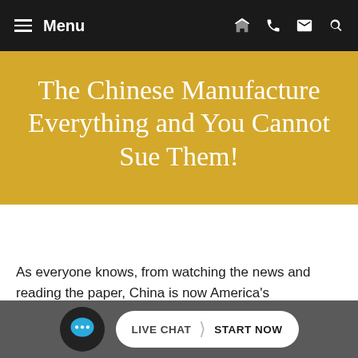Menu (navigation bar with hamburger menu icon, location, phone, email, search icons)
The Chinese Manufacture Everything and You Cannot Sue Them!
As everyone knows, from watching the news and reading the paper, China is now America's manufacturer. They make the majority of low tech products used in America, while America makes more of the higher technology products. However, even when Am… makes higher technology products, portions of
[Figure (other): Live chat widget at the bottom: chat icon with speech bubble with ellipsis, and a pill-shaped button reading LIVE CHAT > START NOW]